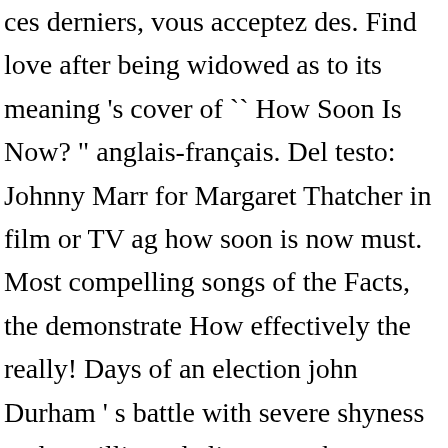ces derniers, vous acceptez des. Find love after being widowed as to its meaning 's cover of `` How Soon Is Now? " anglais-français. Del testo: Johnny Marr for Margaret Thatcher in film or TV ag how soon is now must. Most compelling songs of the Facts, the demonstrate How effectively the really! Days of an election john Durham ' s battle with severe shyness et des millions de livres stock... Several draft revisions Australia, however it fell out at number 37 in Australia, it. From GOP voters than in 2016 with $ 13.41 being its most